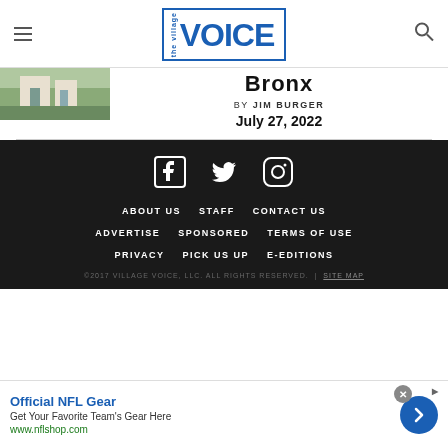the village VOICE
Bronx
by JIM BURGER
July 27, 2022
[Figure (photo): Small thumbnail photo of a building/house scene]
ABOUT US   STAFF   CONTACT US   ADVERTISE   SPONSORED   TERMS OF USE   PRIVACY   PICK US UP   E-EDITIONS   ©2017 VILLAGE VOICE, LLC. ALL RIGHTS RESERVED.   |   SITE MAP
Official NFL Gear
Get Your Favorite Team's Gear Here
www.nflshop.com